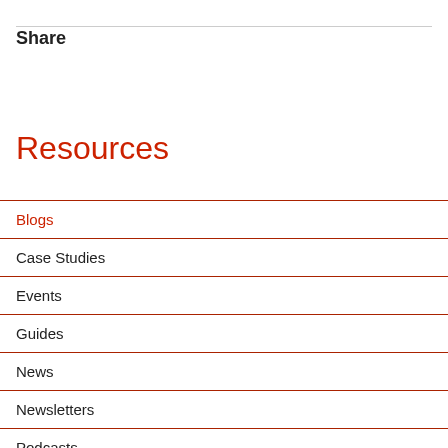Share
Resources
Blogs
Case Studies
Events
Guides
News
Newsletters
Podcasts